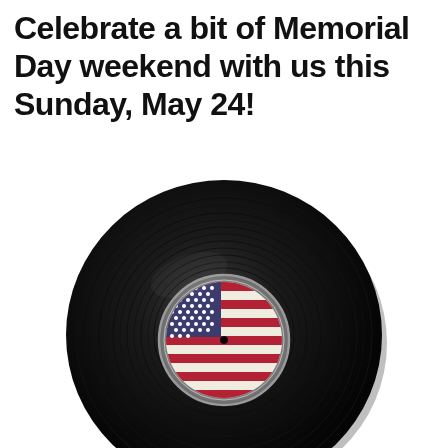Celebrate a bit of Memorial Day weekend with us this Sunday, May 24!
[Figure (illustration): A vinyl record with an American flag label at its center, shown at an angle with grooves visible. The center label depicts the US flag with red and white stripes and a blue canton with white stars, set in a silver/gray circular label holder.]